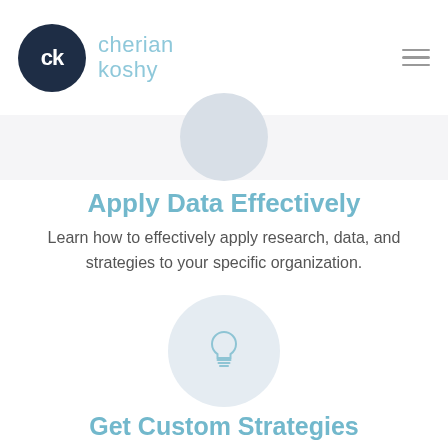cherian koshy
[Figure (illustration): Circular grey icon placeholder at top of section]
Apply Data Effectively
Learn how to effectively apply research, data, and strategies to your specific organization.
[Figure (illustration): Light bulb icon inside a light blue-grey circle]
Get Custom Strategies